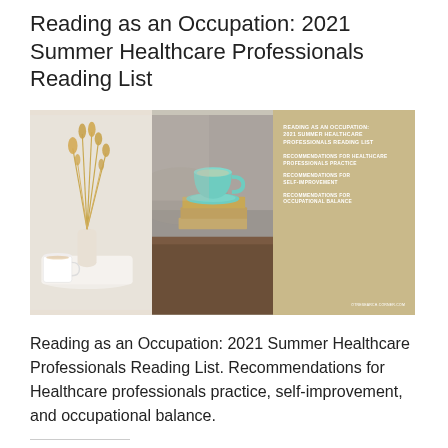Reading as an Occupation: 2021 Summer Healthcare Professionals Reading List
[Figure (illustration): A composite image of three panels: left panel shows dried wheat/grass stalks in a white vase with a coffee mug on a white surface; center panel shows a teal/mint teacup on a saucer resting on stacked books on a wooden table; right panel is a tan/gold colored graphic with text listing sections of the reading list document.]
Reading as an Occupation: 2021 Summer Healthcare Professionals Reading List. Recommendations for Healthcare professionals practice, self-improvement, and occupational balance.